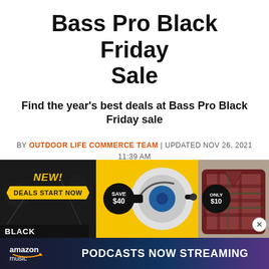Bass Pro Black Friday Sale
Find the year's best deals at Bass Pro Black Friday sale
BY OUTDOOR LIFE COMMERCE TEAM | UPDATED NOV 26, 2021 11:39 AM
GEAR
[Figure (photo): Bass Pro Black Friday promotional banner with three panels: dark panel with 'NEW! DEALS START NOW' text, yellow panel with fishing reel and 'SAVE $40' badge, and right panel with flannel shirt and 'ONLY $10' badge. Bottom shows Amazon Music 'PODCASTS NOW STREAMING' ad bar.]